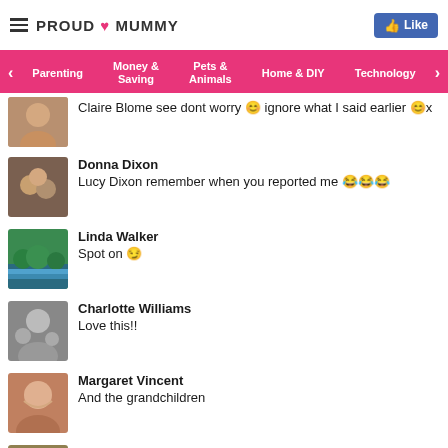PROUD MUMMY
Parenting | Money & Saving | Pets & Animals | Home & DIY | Technology
Claire Blome see dont worry 😊 ignore what I said earlier 😊x
Donna Dixon
Lucy Dixon remember when you reported me 😂😂😂
Linda Walker
Spot on 😏
Charlotte Williams
Love this!!
Margaret Vincent
And the grandchildren
Nicola Pegg
How true